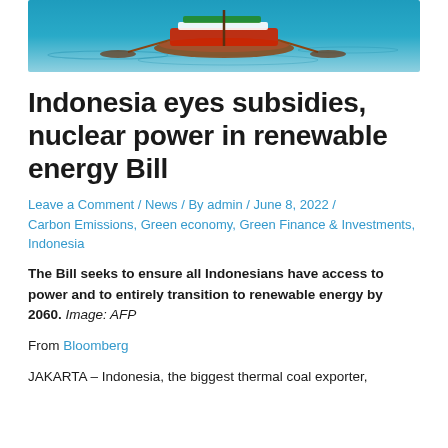[Figure (photo): A colorful fishing boat on blue-green ocean water, viewed from above.]
Indonesia eyes subsidies, nuclear power in renewable energy Bill
Leave a Comment / News / By admin / June 8, 2022 / Carbon Emissions, Green economy, Green Finance & Investments, Indonesia
The Bill seeks to ensure all Indonesians have access to power and to entirely transition to renewable energy by 2060. Image: AFP
From Bloomberg
JAKARTA – Indonesia, the biggest thermal coal exporter,